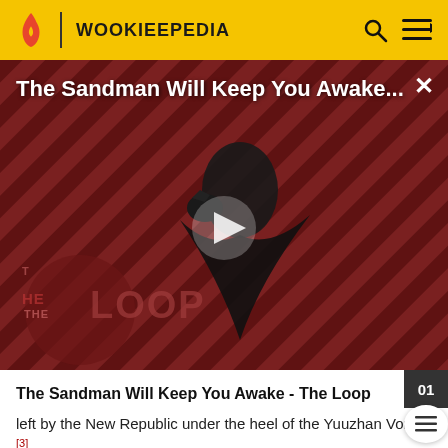WOOKIEEPEDIA
[Figure (screenshot): Video thumbnail for 'The Sandman Will Keep You Awake...' featuring a dark-cloaked figure against a striped red/dark background with a play button overlay and 'THE LOOP' logo watermark]
The Sandman Will Keep You Awake - The Loop
left by the New Republic under the heel of the Yuuzhan Vong.[3]
Behind the scenes